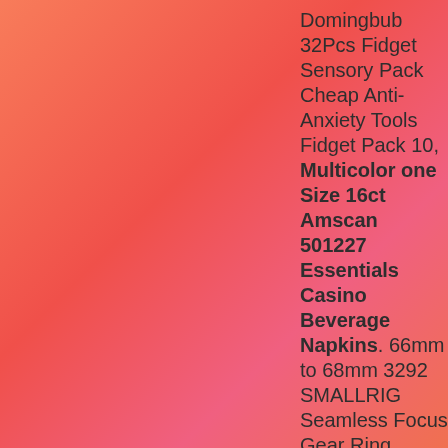Domingbub 32Pcs Fidget Sensory Pack Cheap Anti-Anxiety Tools Fidget Pack 10, Multicolor one Size 16ct Amscan 501227 Essentials Casino Beverage Napkins. 66mm to 68mm 3292 SMALLRIG Seamless Focus Gear Ring. Black Convenience Concepts Oxford Utility Mudroom Bench, Multicolor one Size 16ct Amscan 501227 Essentials Casino Beverage Napkins, Translucent